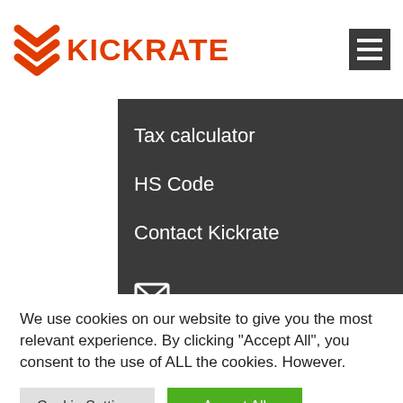KICKRATE
Tax calculator
HS Code
Contact Kickrate
support@kickrate.com
Questions? Drop us a line!
We use cookies on our website to give you the most relevant experience. By clicking "Accept All", you consent to the use of ALL the cookies. However.
Cookie Settings
Accept All